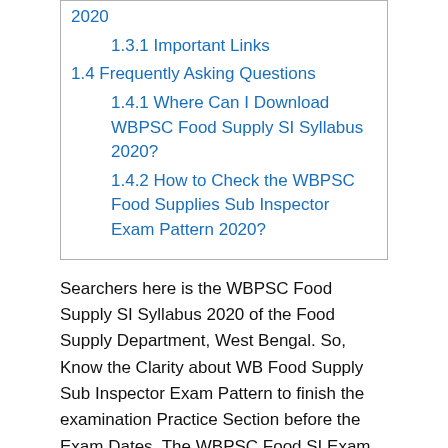2020
1.3.1 Important Links
1.4 Frequently Asking Questions
1.4.1 Where Can I Download WBPSC Food Supply SI Syllabus 2020?
1.4.2 How to Check the WBPSC Food Supplies Sub Inspector Exam Pattern 2020?
Searchers here is the WBPSC Food Supply SI Syllabus 2020 of the Food Supply Department, West Bengal. So, Know the Clarity about WB Food Supply Sub Inspector Exam Pattern to finish the examination Practice Section before the Exam Dates. The WBPSC Food SI Exam Date will be announced soon on their portal. As a matter of fact, the WBPSC Board announced to download